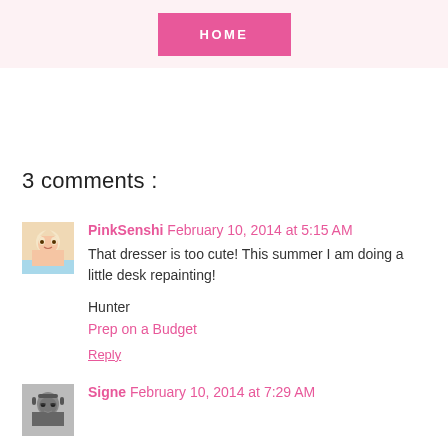HOME
3 comments :
PinkSenshi February 10, 2014 at 5:15 AM
That dresser is too cute! This summer I am doing a little desk repainting!

Hunter
Prep on a Budget
Reply
Signe February 10, 2014 at 7:29 AM